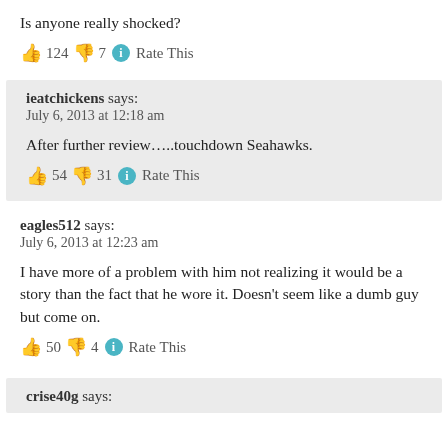Is anyone really shocked?
👍 124 👎 7 ℹ Rate This
ieatchickens says:
July 6, 2013 at 12:18 am
After further review…..touchdown Seahawks.
👍 54 👎 31 ℹ Rate This
eagles512 says:
July 6, 2013 at 12:23 am
I have more of a problem with him not realizing it would be a story than the fact that he wore it. Doesn't seem like a dumb guy but come on.
👍 50 👎 4 ℹ Rate This
crise40g says: